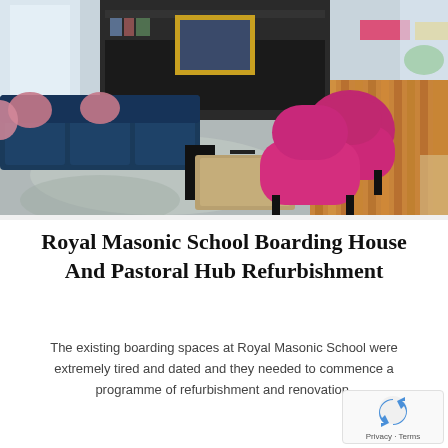[Figure (photo): Interior photo of a modern boarding lounge with dark blue sofas with pink cushions, bright magenta/pink chairs, a coffee table on a grey rug, and polished timber hardwood floors visible on the right side. Colourful seating visible in the background.]
Royal Masonic School Boarding House And Pastoral Hub Refurbishment
The existing boarding spaces at Royal Masonic School were extremely tired and dated and they needed to commence a programme of refurbishment and renovation.